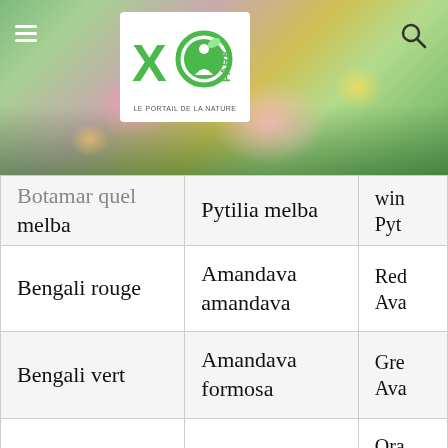[Figure (photo): Colorful flower garden background with pink, yellow and green flowers; XO Park logo (Le portail de la nature) in white box overlay; search icon top right; menu icon top left]
| Nom commun | Nom latin | Nom anglais |
| --- | --- | --- |
| Botamar quel melba (partial) | Pytilia melba | win... Pyt... |
| Bengali rouge | Amandava amandava | Red... Ava... |
| Bengali vert | Amandava formosa | Gre... Ava... |
| Bengali zébré | Amandava subflava | Ora... bre... Wa... |